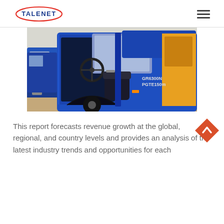TALENET [logo] [hamburger menu]
[Figure (photo): Close-up photo of a blue truck cab with the door open, showing the interior steering wheel and seat. Additional blue trucks visible in the background. Text on the truck reads GR6300N PGTE150m.]
This report forecasts revenue growth at the global, regional, and country levels and provides an analysis of the latest industry trends and opportunities for each